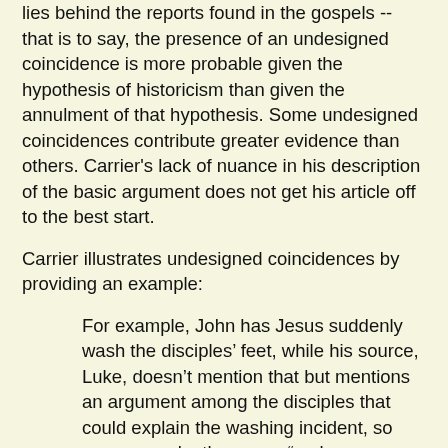lies behind the reports found in the gospels -- that is to say, the presence of an undesigned coincidence is more probable given the hypothesis of historicism than given the annulment of that hypothesis. Some undesigned coincidences contribute greater evidence than others. Carrier's lack of nuance in his description of the basic argument does not get his article off to the best start.
Carrier illustrates undesigned coincidences by providing an example:
For example, John has Jesus suddenly wash the disciples' feet, while his source, Luke, doesn't mention that but mentions an argument among the disciples that could explain the washing incident, so you can make the scene “make more sense” if you combine the accounts. So Luke and John must have been there! The Gospels are therefore direct eyewitness accounts.
Again, this summary lacks nuance. The conclusion of the argument is not that "Luke and John must have been there." Rather, it is that the account is grounded in an actual event